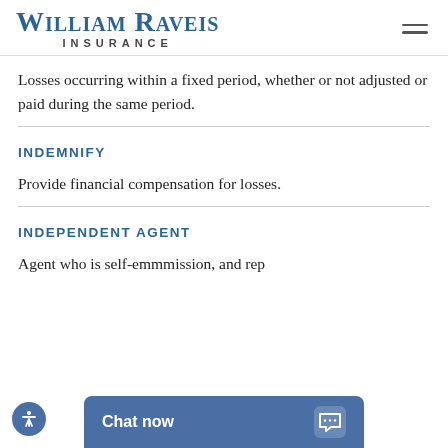William Raveis Insurance
Losses occurring within a fixed period, whether or not adjusted or paid during the same period.
INDEMNIFY
Provide financial compensation for losses.
INDEPENDENT AGENT
Agent who is self-employed, paid on a commission, and rep...